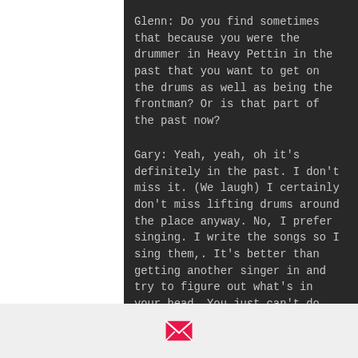Glenn: Do you find sometimes that because you were the drummer in Heavy Pettin in the past that you want to get on the drums as well as being the frontman? Or is that part of the past now?
Gary: Yeah, yeah, oh it's definitely in the past. I don't miss it. (We laugh) I certainly don't miss lifting drums around the place anyway. No, I prefer singing. I write the songs so I sing them,. It's better than getting another singer in and try to figure out what's in your head. You just can't do it.
[Figure (photo): A man singing into a microphone outdoors, wearing a dark cap, photographed from below against a dark background with structural elements visible.]
[Figure (logo): Pink/red envelope icon (email symbol) on a light grey background bar at the bottom of the page.]